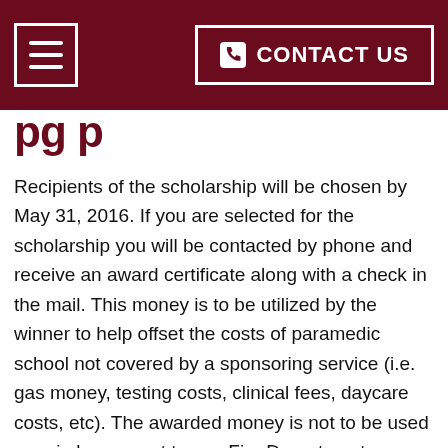CONTACT US
Recipients of the scholarship will be chosen by May 31, 2016. If you are selected for the scholarship you will be contacted by phone and receive an award certificate along with a check in the mail. This money is to be utilized by the winner to help offset the costs of paramedic school not covered by a sponsoring service (i.e. gas money, testing costs, clinical fees, daycare costs, etc). The awarded money is not to be used as reimbursement to any Fire Department or EMS organization.
APPLICATIONS WILL BE ACCEPTED FROM FEBRUARY 1st TO APRIL 30th. (Please make sure it is post-marked before MAY 1st to be eligible).